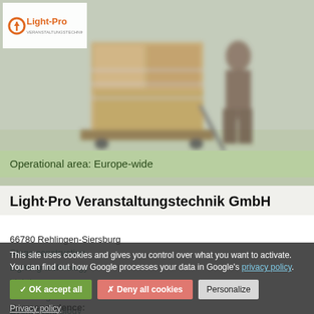[Figure (photo): Blurry warehouse/logistics scene showing a worker pushing a pallet jack loaded with wrapped boxes, motion blur effect, with Light-Pro logo overlay in top-left]
Operational area: Europe-wide
Light·Pro Veranstaltungstechnik GmbH
66780 Rehlingen-Siersburg
Stage construction
Lighting technology
Lighting
Event Logistics
Event Technology
This site uses cookies and gives you control over what you want to activate. You can find out how Google processes your data in Google's privacy policy.
✓ OK accept all   ✗ Deny all cookies   Personalize
Privacy policy
Correspondence: